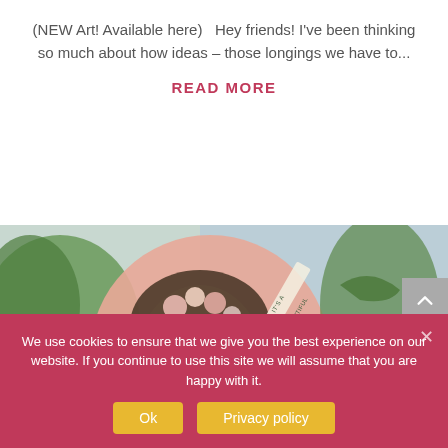(NEW Art! Available here)  Hey friends! I've been thinking so much about how ideas – those longings we have to...
READ MORE
[Figure (illustration): Mixed media artwork showing a woman's face with floral headband, text reading 'It's a Beautiful Life', green botanical elements on a pink and blue background]
We use cookies to ensure that we give you the best experience on our website. If you continue to use this site we will assume that you are happy with it.
Ok
Privacy policy